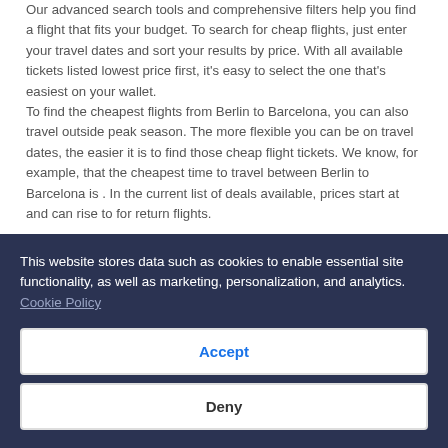Our advanced search tools and comprehensive filters help you find a flight that fits your budget. To search for cheap flights, just enter your travel dates and sort your results by price. With all available tickets listed lowest price first, it's easy to select the one that's easiest on your wallet.
To find the cheapest flights from Berlin to Barcelona, you can also travel outside peak season. The more flexible you can be on travel dates, the easier it is to find those cheap flight tickets. We know, for example, that the cheapest time to travel between Berlin to Barcelona is . In the current list of deals available, prices start at and can rise to for return flights.
Find the best flight from Berlin to Barcelona
Every day between Berlin and Barcelona, 5 flights from 3
This website stores data such as cookies to enable essential site functionality, as well as marketing, personalization, and analytics. Cookie Policy
Accept
Deny